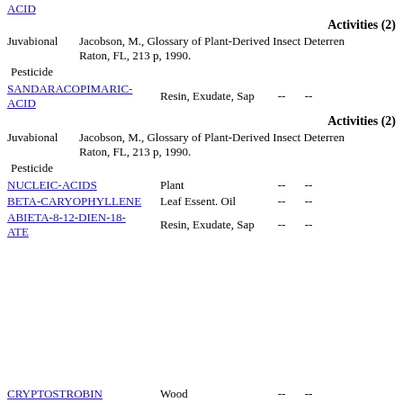ACID
Activities (2)
Juvabional   Jacobson, M., Glossary of Plant-Derived Insect Deterrents, CRC Press, Boca Raton, FL, 213 p, 1990.
Pesticide
SANDARACOPIMARIC-ACID   Resin, Exudate, Sap   --   --
Activities (2)
Juvabional   Jacobson, M., Glossary of Plant-Derived Insect Deterrents, CRC Press, Boca Raton, FL, 213 p, 1990.
Pesticide
NUCLEIC-ACIDS   Plant   --   --
BETA-CARYOPHYLLENE   Leaf Essent. Oil   --   --
ABIETA-8-12-DIEN-18-ATE   Resin, Exudate, Sap   --   --
CRYPTOSTROBIN   Wood   --   --